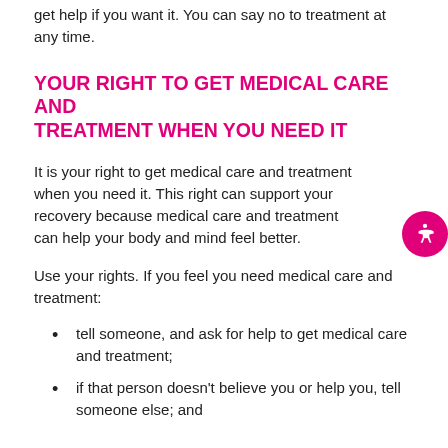get help if you want it. You can say no to treatment at any time.
YOUR RIGHT TO GET MEDICAL CARE AND TREATMENT WHEN YOU NEED IT
It is your right to get medical care and treatment when you need it. This right can support your recovery because medical care and treatment can help your body and mind feel better.
Use your rights. If you feel you need medical care and treatment:
tell someone, and ask for help to get medical care and treatment;
if that person doesn't believe you or help you, tell someone else; and